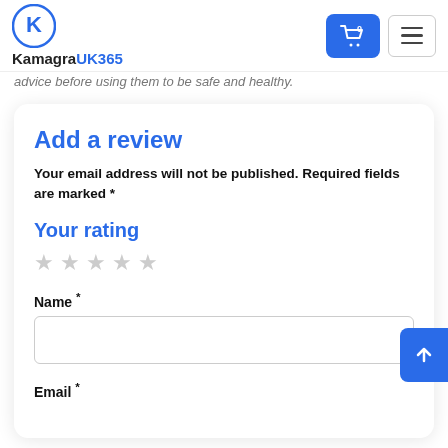KamagraUK365
advice before using them to be safe and healthy.
Add a review
Your email address will not be published. Required fields are marked *
Your rating
★ ★ ★ ★ ★ (5 empty stars)
Name *
Email *